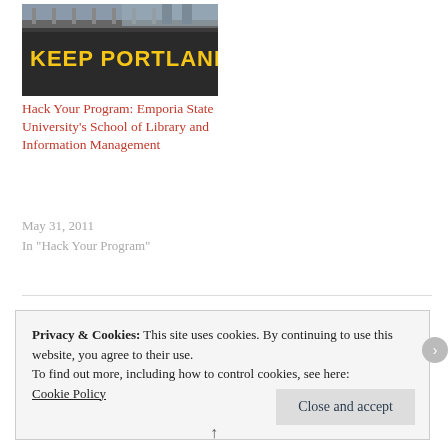[Figure (photo): Photo of a building with 'KEEP PORTLAND WEIRD' sign in yellow text on dark background]
Hack Your Program: Emporia State University's School of Library and Information Management
May 31, 2011
In "Hack Your Program"
Privacy & Cookies: This site uses cookies. By continuing to use this website, you agree to their use.
To find out more, including how to control cookies, see here:
Cookie Policy